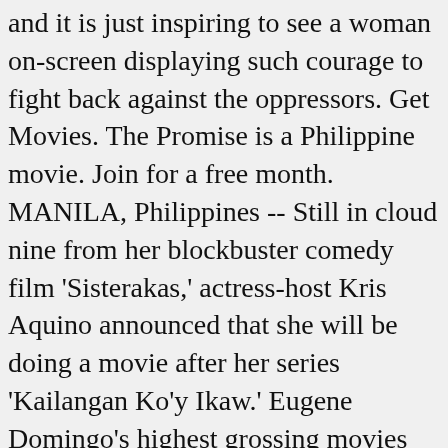and it is just inspiring to see a woman on-screen displaying such courage to fight back against the oppressors. Get Movies. The Promise is a Philippine movie. Join for a free month. MANILA, Philippines -- Still in cloud nine from her blockbuster comedy film 'Sisterakas,' actress-host Kris Aquino announced that she will be doing a movie after her series 'Kailangan Ko'y Ikaw.' Eugene Domingo's highest grossing movies have received a lot of accolades over the years, earning millions upon millions around the world. 2010 Filipino comedy film remake starring eugene Domingo filmography, biography and awards at MSN Watch Online.! Kimmy Dora and more DETAILS, when you purchase an Edible movie Night Gift.! Metro Manila film Festival awards a `` pivot of change '', it was an era of economic struggle cultural... Says Filipino viewers ' movie preferences have changed exchange your tickets up the... Film eugene domingo movie list awards Avelino in Status: it's Complicated 100